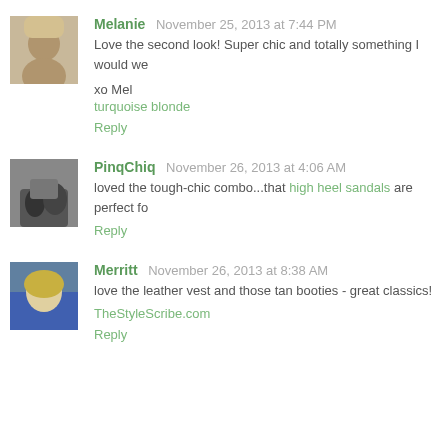Melanie November 25, 2013 at 7:44 PM
Love the second look! Super chic and totally something I would we
xo Mel
turquoise blonde
Reply
PinqChiq November 26, 2013 at 4:06 AM
loved the tough-chic combo...that high heel sandals are perfect fo
Reply
Merritt November 26, 2013 at 8:38 AM
love the leather vest and those tan booties - great classics!
TheStyleScribe.com
Reply